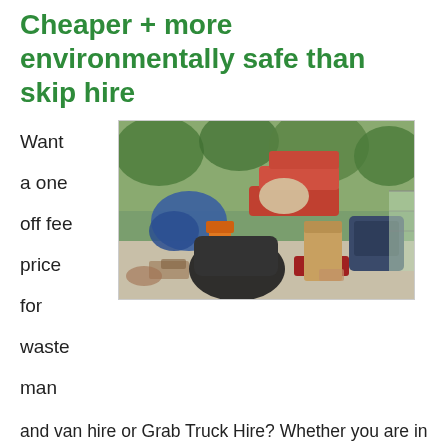Cheaper + more environmentally safe than skip hire
Want
a one
off fee
price
for
waste
man
[Figure (photo): Outdoor scene with piled-up household waste including chairs, mattresses, cushions, and various junk items outside a property]
and van hire or Grab Truck Hire? Whether you are in a office or shop we can help all the general public in Bulphan. We are a established Waste collection company based in Essex. We do all the loading into the lorry so you don't have to. Whatever amount of rubbish you have, our two man teams can safely collect and